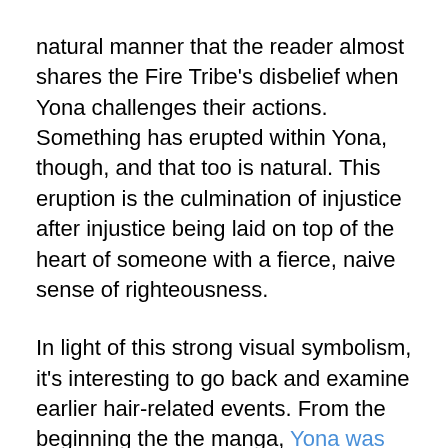natural manner that the reader almost shares the Fire Tribe's disbelief when Yona challenges their actions. Something has erupted within Yona, though, and that too is natural. This eruption is the culmination of injustice after injustice being laid on top of the heart of someone with a fierce, naive sense of righteousness.

In light of this strong visual symbolism, it's interesting to go back and examine earlier hair-related events. From the beginning the the manga, Yona was never comfortable with her hair. Its texture frustrated her, its color puzzled her. She never felt truly happy with it until the moment Su-won complimented it. In the moment that he gifted her a hairpin and told her he loved it, Yona adored her hair for the first time. The man who allowed her to start to accept the physical feature most closely tied to her identity as royalty is also the person who destroyed that identity. By